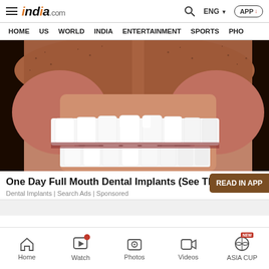india.com — ENG — APP
HOME | US | WORLD | INDIA | ENTERTAINMENT | SPORTS | PHO
[Figure (photo): Close-up photo of a man smiling showing white dental implants/teeth with stubble visible]
One Day Full Mouth Dental Implants (See The Costs)
Dental Implants | Search Ads | Sponsored
Home | Watch | Photos | Videos | ASIA CUP